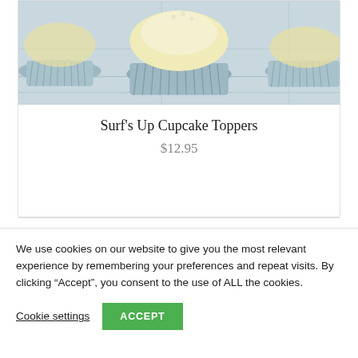[Figure (photo): Photo of cupcakes in light blue paper cups with cream frosting, on a white wooden surface]
Surf's Up Cupcake Toppers
$12.95
We use cookies on our website to give you the most relevant experience by remembering your preferences and repeat visits. By clicking “Accept”, you consent to the use of ALL the cookies.
Cookie settings
ACCEPT